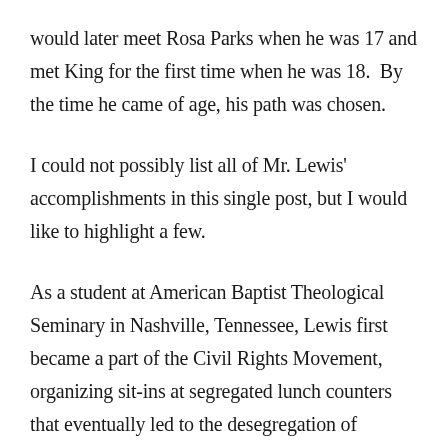would later meet Rosa Parks when he was 17 and met King for the first time when he was 18.  By the time he came of age, his path was chosen.
I could not possibly list all of Mr. Lewis' accomplishments in this single post, but I would like to highlight a few.
As a student at American Baptist Theological Seminary in Nashville, Tennessee, Lewis first became a part of the Civil Rights Movement, organizing sit-ins at segregated lunch counters that eventually led to the desegregation of Nashville's lunch counters.